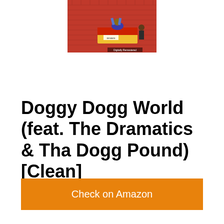[Figure (illustration): Album cover art showing cartoon characters in a street scene with brick wall background, labeled 'Digitally Remastered']
Doggy Dogg World (feat. The Dramatics & Tha Dogg Pound) [Clean]
Check on Amazon